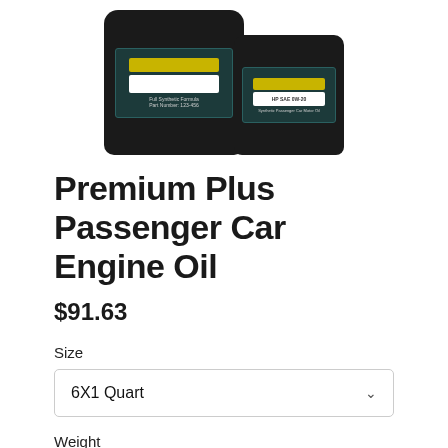[Figure (photo): Product photo showing two black bottles of Premium Plus Passenger Car Engine Oil against a white background]
Premium Plus Passenger Car Engine Oil
$91.63
Size
6X1 Quart
Weight
0W-8
Quantity